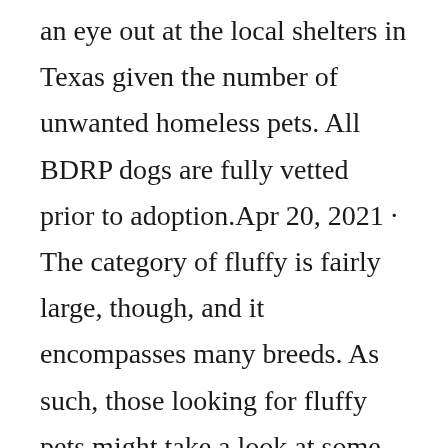an eye out at the local shelters in Texas given the number of unwanted homeless pets. All BDRP dogs are fully vetted prior to adoption.Apr 20, 2021 · The category of fluffy is fairly large, though, and it encompasses many breeds. As such, those looking for fluffy pets might take a look at some of the fluffiest dog varieties out there to find the best dog breed for their home. The Little Fluffy Dog Breeds. Bichon Frise. Coton De Tulear. Apr 02, 2021 ·